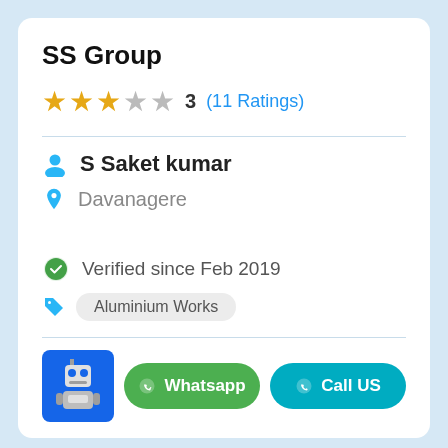SS Group
3 (11 Ratings) — 3 star rating out of 5
S Saket kumar
Davanagere
Verified since Feb 2019
Aluminium Works
Whatsapp
Call US